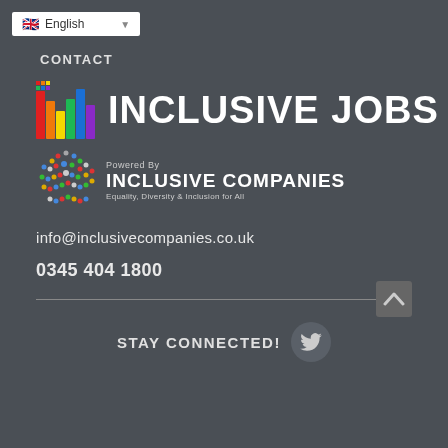[Figure (screenshot): Language selector dropdown showing English with UK flag]
CONTACT
[Figure (logo): Inclusive Jobs logo with rainbow colored bar chart icon and bold white text INCLUSIVE JOBS]
[Figure (logo): Inclusive Companies logo - Powered By Inclusive Companies, Equality, Diversity & Inclusion for All, with multicolored dot globe icon]
info@inclusivecompanies.co.uk
0345 404 1800
STAY CONNECTED!